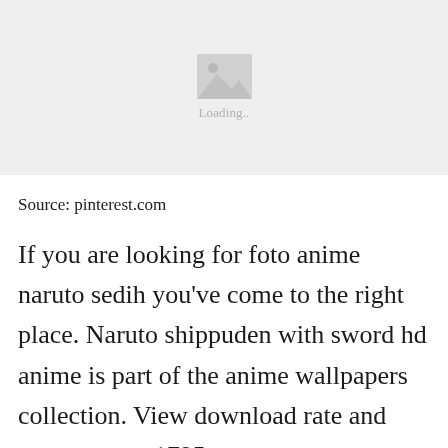[Figure (photo): Image loading placeholder with mountain/photo icon and 'Loading..' text on a light grey background]
Source: pinterest.com
If you are looking for foto anime naruto sedih you've come to the right place. Naruto shippuden with sword hd anime is part of the anime wallpapers collection. View download rate and comment on 1795 naruto